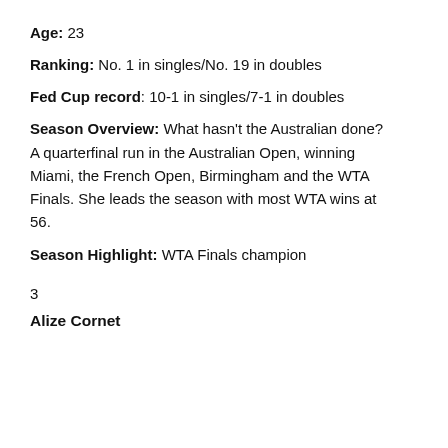Age: 23
Ranking: No. 1 in singles/No. 19 in doubles
Fed Cup record: 10-1 in singles/7-1 in doubles
Season Overview: What hasn't the Australian done? A quarterfinal run in the Australian Open, winning Miami, the French Open, Birmingham and the WTA Finals. She leads the season with most WTA wins at 56.
Season Highlight: WTA Finals champion
3
Alize Cornet